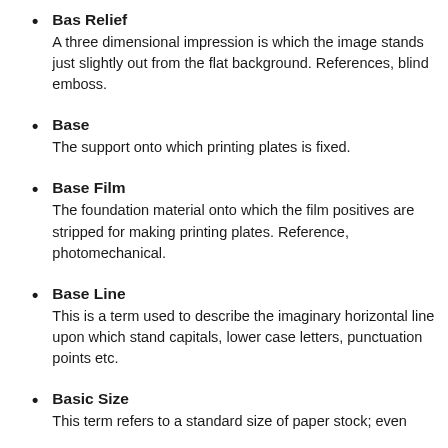Bas Relief: A three dimensional impression is which the image stands just slightly out from the flat background. References, blind emboss.
Base: The support onto which printing plates is fixed.
Base Film: The foundation material onto which the film positives are stripped for making printing plates. Reference, photomechanical.
Base Line: This is a term used to describe the imaginary horizontal line upon which stand capitals, lower case letters, punctuation points etc.
Basic Size: This term refers to a standard size of paper stock; even